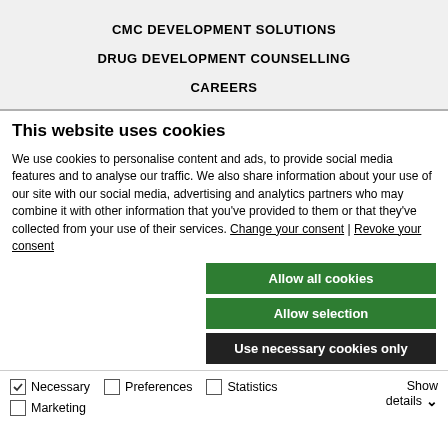CMC DEVELOPMENT SOLUTIONS
DRUG DEVELOPMENT COUNSELLING
CAREERS
This website uses cookies
We use cookies to personalise content and ads, to provide social media features and to analyse our traffic. We also share information about your use of our site with our social media, advertising and analytics partners who may combine it with other information that you've provided to them or that they've collected from your use of their services. Change your consent | Revoke your consent
Allow all cookies
Allow selection
Use necessary cookies only
Necessary  Preferences  Statistics  Marketing  Show details